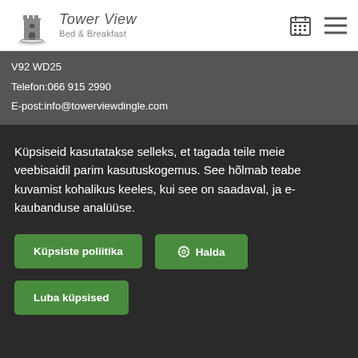[Figure (logo): Tower View Bed & Breakfast logo with castle tower illustration and italic text]
V92 WD25
Telefon:066 915 2990
E-post:info@towerviewdingle.com
Küpsiseid kasutatakse selleks, et tagada teile meie veebisaidil parim kasutuskogemus. See hõlmab teabe kuvamist kohalikus keeles, kui see on saadaval, ja e-kaubanduse analüüse.
Küpsiste poliitika
Halda
Luba küpsised